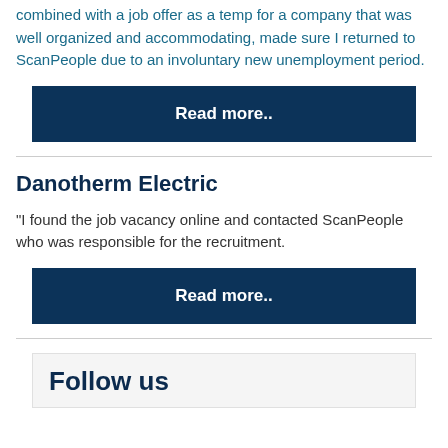combined with a job offer as a temp for a company that was well organized and accommodating, made sure I returned to ScanPeople due to an involuntary new unemployment period.
Read more..
Danotherm Electric
"I found the job vacancy online and contacted ScanPeople who was responsible for the recruitment.
Read more..
Follow us